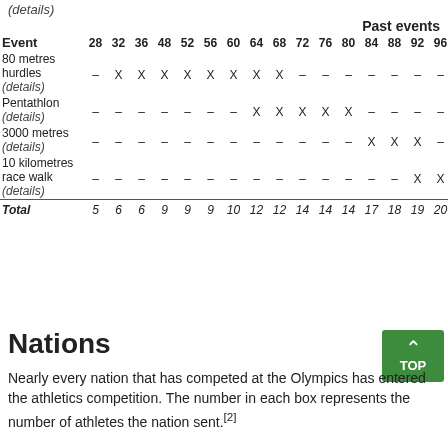| Event | 28 | 32 | 36 | 48 | 52 | 56 | 60 | 64 | 68 | 72 | 76 | 80 | 84 | 88 | 92 | 96 | 0 |
| --- | --- | --- | --- | --- | --- | --- | --- | --- | --- | --- | --- | --- | --- | --- | --- | --- | --- |
| 80 metres hurdles (details) | – | X | X | X | X | X | X | X | X | – | – | – | – | – | – | – | – |
| Pentathlon (details) | – | – | – | – | – | – | – | X | X | X | X | X | – | – | – | – | – |
| 3000 metres (details) | – | – | – | – | – | – | – | – | – | – | – | – | X | X | X | – | – |
| 10 kilometres race walk (details) | – | – | – | – | – | – | – | – | – | – | – | – | – | – | X | X | – |
| Total | 5 | 6 | 6 | 9 | 9 | 9 | 10 | 12 | 12 | 14 | 14 | 14 | 17 | 18 | 19 | 20 | 2 |
Nations
Nearly every nation that has competed at the Olympics has entered the athletics competition. The number in each box represents the number of athletes the nation sent.[2]